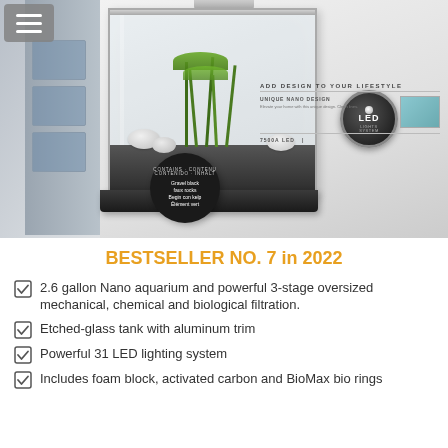[Figure (photo): Product photo of a nano aquarium kit in its retail packaging box, showing a small glass tank with green plants, dark gravel, white rocks, an LED badge, and box graphics including text 'ADD DESIGN TO YOUR LIFESTYLE' and a model number section. A hamburger menu icon overlay appears top-left.]
BESTSELLER NO. 7 in 2022
2.6 gallon Nano aquarium and powerful 3-stage oversized mechanical, chemical and biological filtration.
Etched-glass tank with aluminum trim
Powerful 31 LED lighting system
Includes foam block, activated carbon and BioMax bio rings